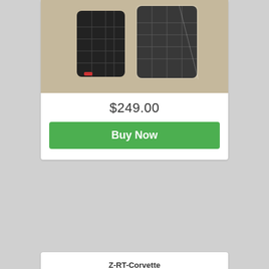[Figure (photo): Car grille parts in packaging (partial top card)]
$249.00
Buy Now
Z-RT-Corvette
ACP
AC Products C6 Corvette World Challenge Z R/T Body Conversion
[Figure (photo): Blue C6 Corvette sports car parked outdoors near a chain-link fence]